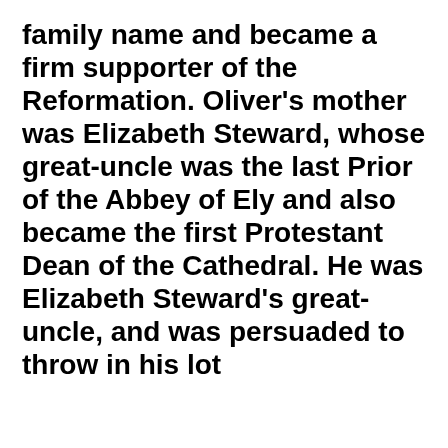family name and became a firm supporter of the Reformation. Oliver's mother was Elizabeth Steward, whose great-uncle was the last Prior of the Abbey of Ely and also became the first Protestant Dean of the Cathedral. He was Elizabeth Steward's great-uncle, and was persuaded to throw in his lot